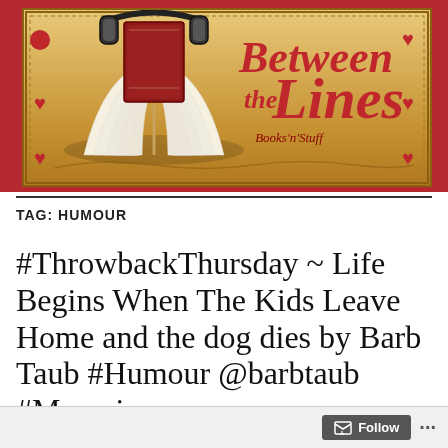[Figure (logo): Between the Lines Books'n'Stuff blog banner with book, headphones, hearts and ornate golden background]
TAG: HUMOUR
#ThrowbackThursday ~ Life Begins When The Kids Leave Home and the dog dies by Barb Taub #Humour @barbtaub #Memoir
Follow